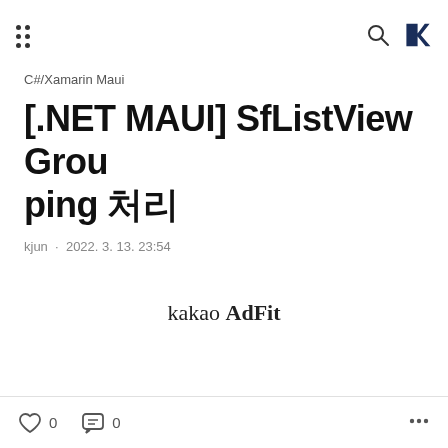menu icon | search icon | K logo
C#/Xamarin Maui
[.NET MAUI] SfListView Grouping 처리
kjun · 2022. 3. 13. 23:54
[Figure (other): kakao AdFit advertisement banner]
0 likes  0 comments  more options